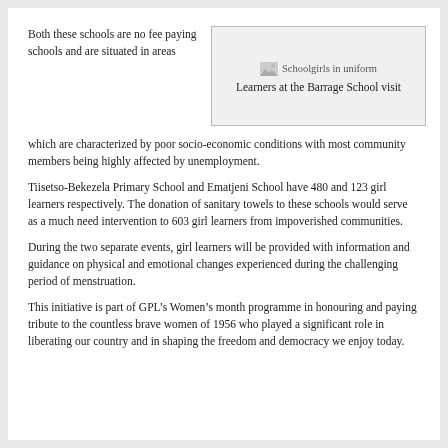Both these schools are no fee paying schools and are situated in areas which are characterized by poor socio-economic conditions with most community members being highly affected by unemployment.
[Figure (photo): Schoolgirls in uniform - photo placeholder]
Learners at the Barrage School visit
Tiisetso-Bekezela Primary School and Ematjeni School have 480 and 123 girl learners respectively. The donation of sanitary towels to these schools would serve as a much need intervention to 603 girl learners from impoverished communities.
During the two separate events, girl learners will be provided with information and guidance on physical and emotional changes experienced during the challenging period of menstruation.
This initiative is part of GPL’s Women’s month programme in honouring and paying tribute to the countless brave women of 1956 who played a significant role in liberating our country and in shaping the freedom and democracy we enjoy today.